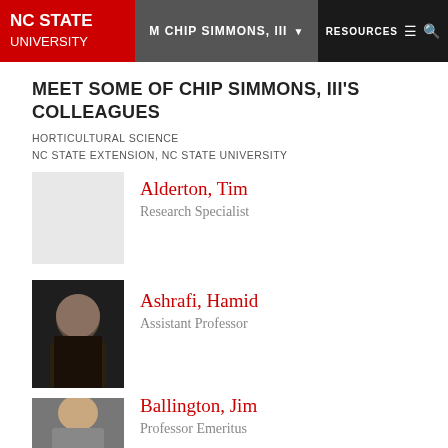NC STATE UNIVERSITY | M CHIP SIMMONS, III | RESOURCES
MEET SOME OF CHIP SIMMONS, III'S COLLEAGUES
HORTICULTURAL SCIENCE
NC STATE EXTENSION, NC STATE UNIVERSITY
Alderton, Tim
Research Specialist
[Figure (photo): Placeholder photo for Alderton, Tim]
Ashrafi, Hamid
Assistant Professor
[Figure (photo): Photo of Ashrafi, Hamid - man in dark jacket]
Ballington, Jim
Professor Emeritus
[Figure (photo): Photo of Ballington, Jim - man in gray jacket]